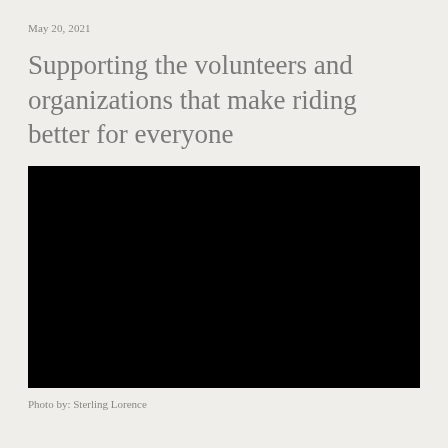May 20, 2021
Supporting the volunteers and organizations that make riding better for everyone
[Figure (photo): A person wearing a blue plaid shirt and a grey helmet kneeling on a wooden ramp or bridge structure in a dense green forest, working with their hands on the wood. A white bucket is visible to the left. The setting appears to be a mountain bike trail building volunteer work session.]
Photo by: Sterling Lorence